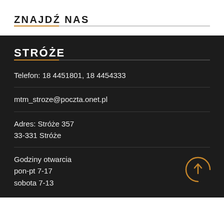ZNAJDŹ NAS
STRÓŻE
Telefon: 18 4451801, 18 4454333
mtm_stroze@poczta.onet.pl
Adres: Stróże 357
33-331 Stróże
Godziny otwarcia
pon-pt 7-17
sobota 7-13